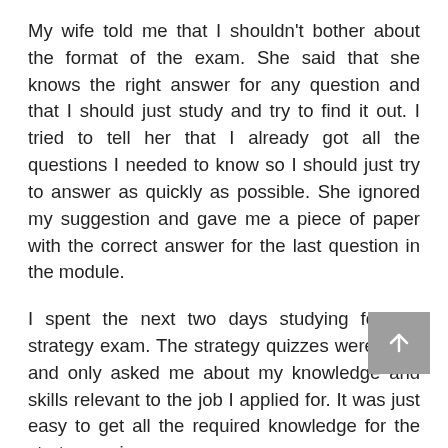My wife told me that I shouldn't bother about the format of the exam. She said that she knows the right answer for any question and that I should just study and try to find it out. I tried to tell her that I already got all the questions I needed to know so I should just try to answer as quickly as possible. She ignored my suggestion and gave me a piece of paper with the correct answer for the last question in the module.
I spent the next two days studying for the strategy exam. The strategy quizzes were easy and only asked me about my knowledge and skills relevant to the job I applied for. It was just easy to get all the required knowledge for the strategy quiz.
On the day for the quiz, my wife was waiting in the car with me. I was actually excited about taking the